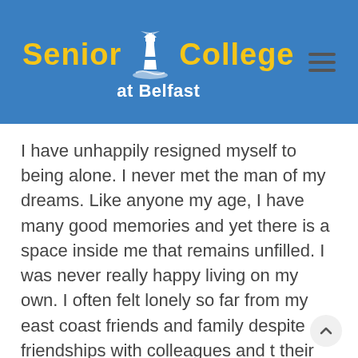Senior College at Belfast
I have unhappily resigned myself to being alone. I never met the man of my dreams. Like anyone my age, I have many good memories and yet there is a space inside me that remains unfilled. I was never really happy living on my own. I often felt lonely so far from my east coast friends and family despite friendships with colleagues and their spouses at UCLA. At times, my apartment felt more like a trap than a home. During